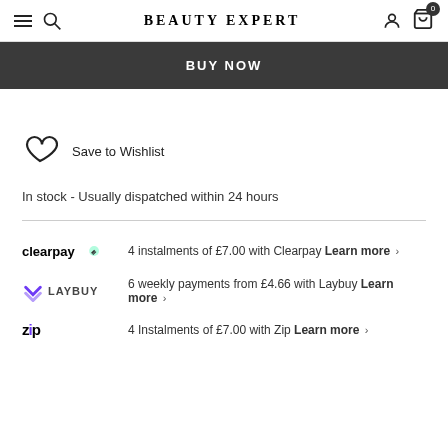BEAUTY EXPERT
BUY NOW
Save to Wishlist
In stock - Usually dispatched within 24 hours
4 instalments of £7.00 with Clearpay Learn more >
6 weekly payments from £4.66 with Laybuy Learn more >
4 Instalments of £7.00 with Zip Learn more >